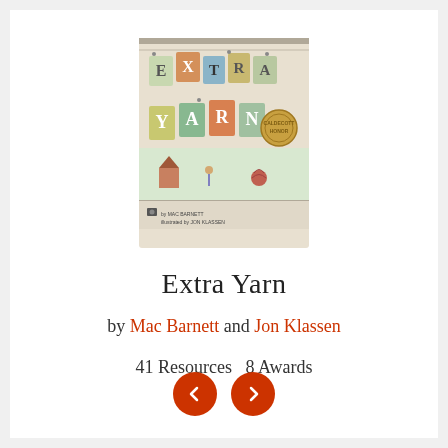[Figure (illustration): Book cover of 'Extra Yarn' by Mac Barnett, illustrated by Jon Klassen. Colorful letters spelling EXTRA YARN with small illustrated characters, with a Caldecott Medal medallion.]
Extra Yarn
by Mac Barnett and Jon Klassen
41 Resources  8 Awards